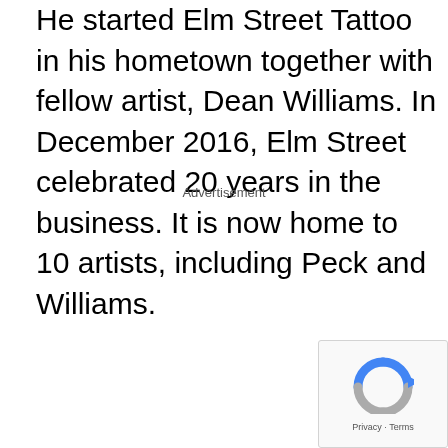He started Elm Street Tattoo in his hometown together with fellow artist, Dean Williams. In December 2016, Elm Street celebrated 20 years in the business. It is now home to 10 artists, including Peck and Williams.
Advertisement
[Figure (other): reCAPTCHA widget with circular arrow icon and Privacy/Terms footer links]